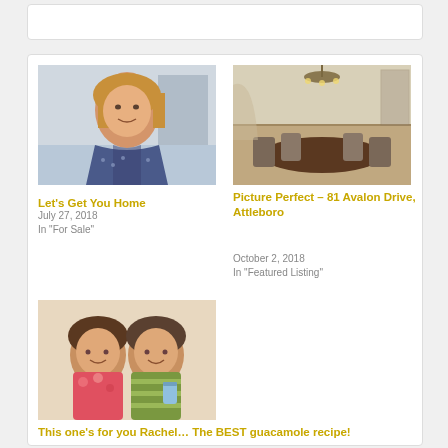[Figure (photo): Woman with blonde hair smiling, wearing patterned top]
Let's Get You Home
July 27, 2018
In "For Sale"
[Figure (photo): Formal dining room with chandelier and dark wood furniture]
Picture Perfect – 81 Avalon Drive, Attleboro
October 2, 2018
In "Featured Listing"
[Figure (photo): Two women smiling, one holding a blue can]
This one's for you Rachel… The BEST guacamole recipe!